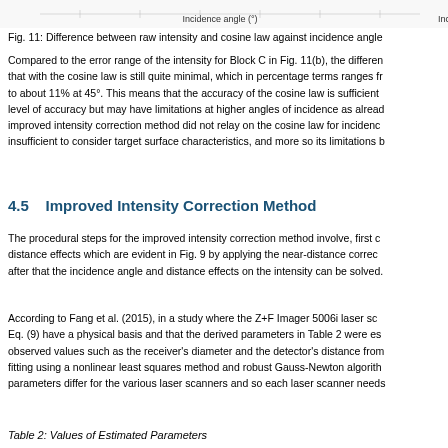[Figure (continuous-plot): Top strip showing axis label 'Incidence angle (°)' — partial chart visible at top of page]
Fig. 11: Difference between raw intensity and cosine law against incidence angle
Compared to the error range of the intensity for Block C in Fig. 11(b), the difference that with the cosine law is still quite minimal, which in percentage terms ranges from to about 11% at 45°. This means that the accuracy of the cosine law is sufficient level of accuracy but may have limitations at higher angles of incidence as already improved intensity correction method did not relay on the cosine law for incidence insufficient to consider target surface characteristics, and more so its limitations b
4.5    Improved Intensity Correction Method
The procedural steps for the improved intensity correction method involve, first c distance effects which are evident in Fig. 9 by applying the near-distance correct after that the incidence angle and distance effects on the intensity can be solved.
According to Fang et al. (2015), in a study where the Z+F Imager 5006i laser sca Eq. (9) have a physical basis and that the derived parameters in Table 2 were es observed values such as the receiver's diameter and the detector's distance from fitting using a nonlinear least squares method and robust Gauss-Newton algorith parameters differ for the various laser scanners and so each laser scanner needs
Table 2: Values of Estimated Parameters